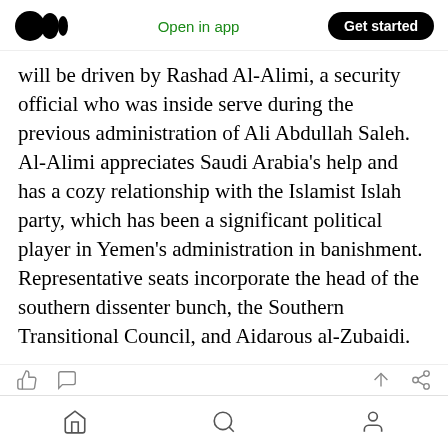Medium logo | Open in app | Get started
will be driven by Rashad Al-Alimi, a security official who was inside serve during the previous administration of Ali Abdullah Saleh. Al-Alimi appreciates Saudi Arabia's help and has a cozy relationship with the Islamist Islah party, which has been a significant political player in Yemen's administration in banishment. Representative seats incorporate the head of the southern dissenter bunch, the Southern Transitional Council, and Aidarous al-Zubaidi.